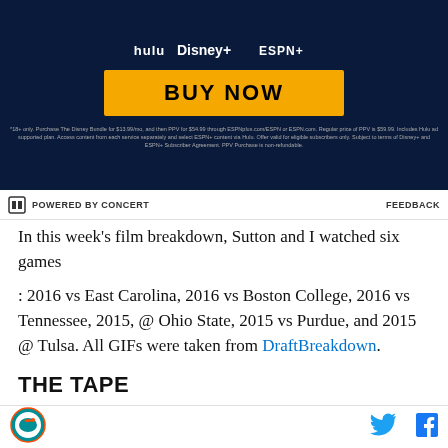[Figure (illustration): Disney Bundle advertisement banner with Hulu, Disney+, and ESPN+ logos on dark navy background with orange BUY NOW button and fine print disclaimer]
POWERED BY CONCERT   FEEDBACK
In this week's film breakdown, Sutton and I watched six games
: 2016 vs East Carolina, 2016 vs Boston College, 2016 vs Tennessee, 2015, @ Ohio State, 2015 vs Purdue, and 2015 @ Tulsa. All GIFs were taken from DraftBreakdown.
THE TAPE